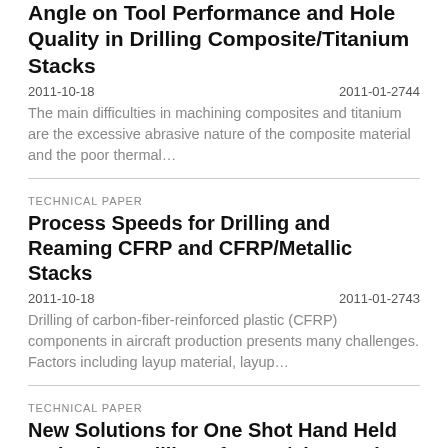Angle on Tool Performance and Hole Quality in Drilling Composite/Titanium Stacks
2011-10-18	2011-01-2744
The main difficulties in machining composites and titanium are the excessive abrasive nature of the composite material and the poor thermal…
TECHNICAL PAPER
Process Speeds for Drilling and Reaming CFRP and CFRP/Metallic Stacks
2011-10-18	2011-01-2743
Drilling of carbon-fiber-reinforced plastic (CFRP) components in aircraft production presents many challenges. Factors including layup material, layup…
TECHNICAL PAPER
New Solutions for One Shot Hand Held and Robot Drilling of CFRP/Titan and